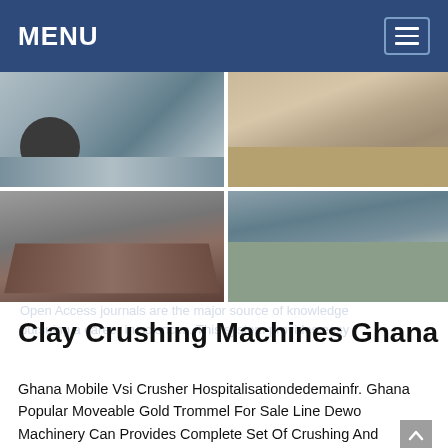MENU
[Figure (photo): Four photos of clay crushing and quarrying machines/operations in Ghana arranged in a 2x2 grid]
Clay Crushing Machines Ghana
Ghana Mobile Vsi Crusher Hospitalisationdedemainfr. Ghana Popular Moveable Gold Trommel For Sale Line Dewo Machinery Can Provides Complete Set Of Crushing And Screening Line Including Hydraulic Cone Crusher Jaw Crusher Impact Crusher Vertical Shaft Impact Crusher